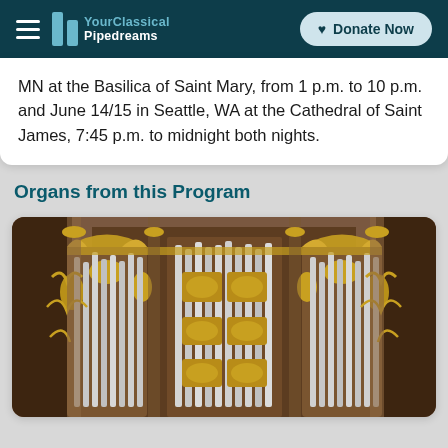YourClassical Pipedreams | Donate Now
MN at the Basilica of Saint Mary, from 1 p.m. to 10 p.m. and June 14/15 in Seattle, WA at the Cathedral of Saint James, 7:45 p.m. to midnight both nights.
Organs from this Program
[Figure (photo): Photograph of an ornate pipe organ facade with gilded baroque decorations, multiple rows of silver pipes, and intricately carved wooden case.]